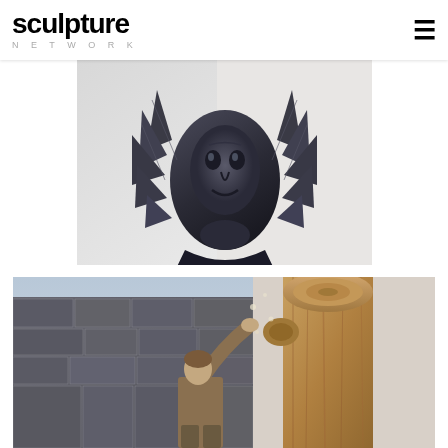sculpture NETWORK
[Figure (photo): Close-up of a dark bronze or metal sculpture of a face with intricate headdress or surrounding elements, photographed against a light background]
SOMEBODY IN THERE
[Figure (photo): Person reaching up to touch or carve a large wooden log or tree trunk outdoors, with stone wall background]